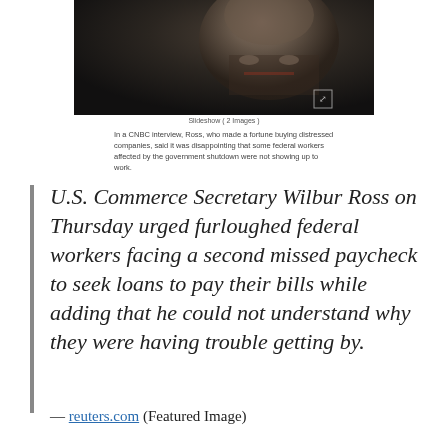[Figure (screenshot): Screenshot of a news article showing a dark photo of an elderly man (Wilbur Ross) with a caption below]
Slideshow ( 2 Images )
In a CNBC interview, Ross, who made a fortune buying distressed companies, said it was disappointing that some federal workers affected by the government shutdown were not showing up to work.
U.S. Commerce Secretary Wilbur Ross on Thursday urged furloughed federal workers facing a second missed paycheck to seek loans to pay their bills while adding that he could not understand why they were having trouble getting by.
— reuters.com (Featured Image)